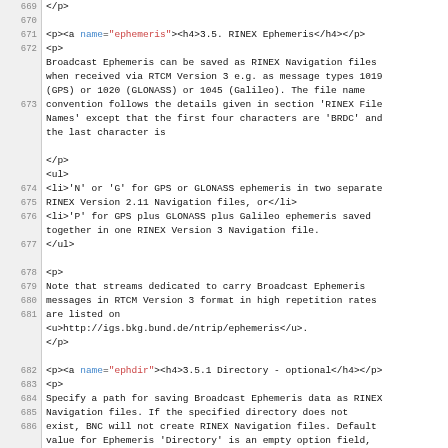669  </p>
670  (blank)
671  <p><a name="ephemeris"><h4>3.5. RINEX Ephemeris</h4></p>
672  <p>
673  Broadcast Ephemeris can be saved as RINEX Navigation files when received via RTCM Version 3 e.g. as message types 1019 (GPS) or 1020 (GLONASS) or 1045 (Galileo). The file name convention follows the details given in section 'RINEX File Names' except that the first four characters are 'BRDC' and the last character is
674  </p>
675  <ul>
676  <li>'N' or 'G' for GPS or GLONASS ephemeris in two separate RINEX Version 2.11 Navigation files, or</li>
677  <li>'P' for GPS plus GLONASS plus Galileo ephemeris saved together in one RINEX Version 3 Navigation file.
678  </ul>
679  (blank)
680  <p>
681  Note that streams dedicated to carry Broadcast Ephemeris messages in RTCM Version 3 format in high repetition rates are listed on <u>http://igs.bkg.bund.de/ntrip/ephemeris</u>.
682  </p>
683  (blank)
684  <p><a name="ephdir"><h4>3.5.1 Directory - optional</h4></p>
685  <p>
686  Specify a path for saving Broadcast Ephemeris data as RINEX Navigation files. If the specified directory does not exist, BNC will not create RINEX Navigation files. Default value for Ephemeris 'Directory' is an empty option field, meaning that no RINEX Navigation files will be created.
687  </p>